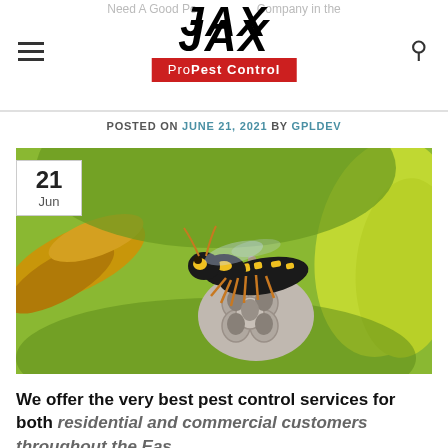Need A Good Pest Control Company in the — JAX ProPest Control
POSTED ON JUNE 21, 2021 BY GPLDEV
[Figure (photo): Close-up photograph of a yellow and black wasp (paper wasp) sitting on a paper/honeycomb nest, with blurred green foliage background. A date badge overlay in the top-left corner shows '21 Jun'.]
We offer the very best pest control services for both residential and commercial customers throughout the East...